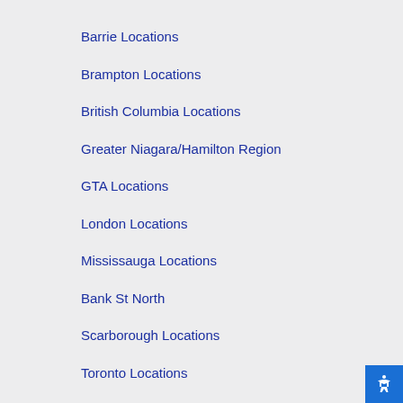Barrie Locations
Brampton Locations
British Columbia Locations
Greater Niagara/Hamilton Region
GTA Locations
London Locations
Mississauga Locations
Bank St North
Scarborough Locations
Toronto Locations
Windsor
Online Payday Loans